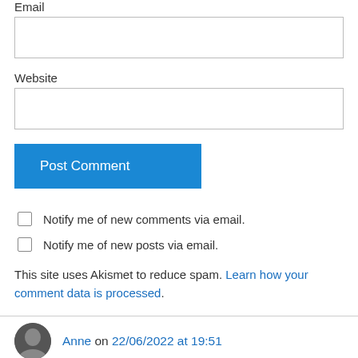Email
(email input box)
Website
(website input box)
Post Comment
Notify me of new comments via email.
Notify me of new posts via email.
This site uses Akismet to reduce spam. Learn how your comment data is processed.
Anne on 22/06/2022 at 19:51